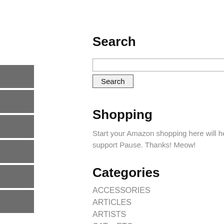[Figure (other): Navigation sidebar with 6 gray blocks stacked vertically on the left side]
Search
[search input field]
Search [button]
Shopping
Start your Amazon shopping here will help support Pause. Thanks! Meow!
Categories
ACCESSORIES
ARTICLES
ARTISTS
CAT – ETC
CAT ACCESSORIES
CAT BEDDING AND BLANKIES
CAT BOWLS, FOOD AND TREATS